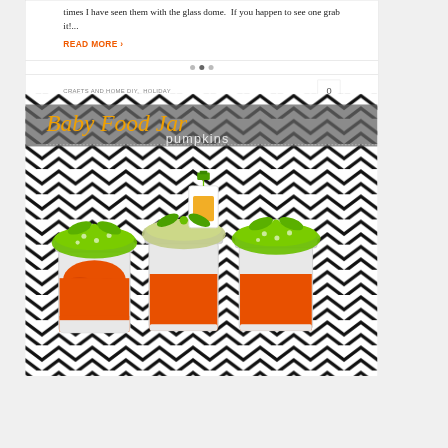times I have seen them with the glass dome.  If you happen to see one grab it!...
READ MORE ›
CRAFTS AND HOME DIY,  HOLIDAY
[Figure (photo): Baby Food Jar Pumpkins craft photo showing three small glass jars filled with orange pumpkin-shaped candy, topped with green polka-dot fabric and tied with green ribbon bows, on a black and white chevron background. Title text reads 'Baby Food Jar pumpkins' on a gray banner.]